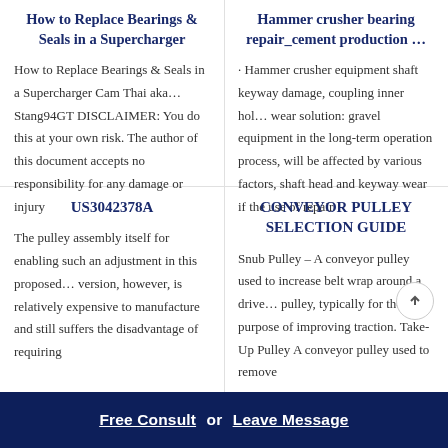How to Replace Bearings & Seals in a Supercharger
How to Replace Bearings & Seals in a Supercharger Cam Thai aka… Stang94GT DISCLAIMER: You do this at your own risk. The author of this document accepts no responsibility for any damage or injury
Hammer crusher bearing repair_cement production …
· Hammer crusher equipment shaft keyway damage, coupling inner hol… wear solution: gravel equipment in the long-term operation process, will be affected by various factors, shaft head and keyway wear if the use of repair
US3042378A
The pulley assembly itself for enabling such an adjustment in this proposed… version, however, is relatively expensive to manufacture and still suffers the disadvantage of requiring
CONVEYOR PULLEY SELECTION GUIDE
Snub Pulley – A conveyor pulley used to increase belt wrap around a drive… pulley, typically for the purpose of improving traction. Take-Up Pulley A conveyor pulley used to remove
Free Consult  or  Leave Message